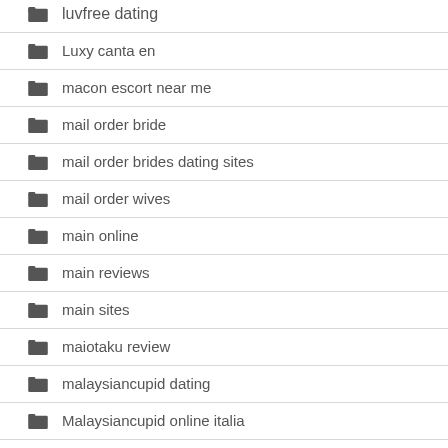luvfree dating
Luxy canta en
macon escort near me
mail order bride
mail order brides dating sites
mail order wives
main online
main reviews
main sites
maiotaku review
malaysiancupid dating
Malaysiancupid online italia